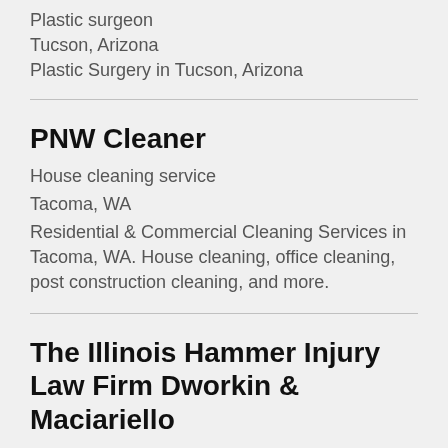Plastic surgeon
Tucson, Arizona
Plastic Surgery in Tucson, Arizona
PNW Cleaner
House cleaning service
Tacoma, WA
Residential & Commercial Cleaning Services in Tacoma, WA. House cleaning, office cleaning, post construction cleaning, and more.
The Illinois Hammer Injury Law Firm Dworkin & Maciariello